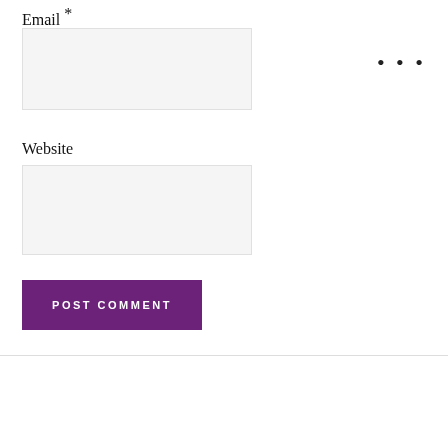Email *
[Figure (other): Empty email input field (light gray background box)]
•••
Website
[Figure (other): Empty website input field (light gray background box)]
POST COMMENT
This website uses cookies to improve your experience. We'll assume you're ok with this, but you can opt-out if you wish. Accept Read More